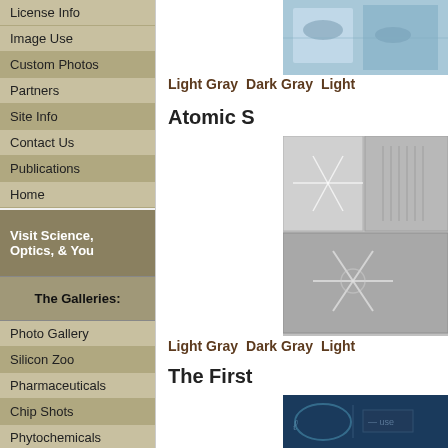License Info
Image Use
Custom Photos
Partners
Site Info
Contact Us
Publications
Home
Visit Science, Optics, & You
The Galleries:
Photo Gallery
Silicon Zoo
Pharmaceuticals
Chip Shots
Phytochemicals
DNA Gallery
Light Gray   Dark Gray   Light
Atomic S
[Figure (photo): Blue-tinted microscope image thumbnail at top right]
Light Gray   Dark Gray   Light
The First
[Figure (photo): Gray microscopy image thumbnail in middle right]
[Figure (photo): Dark navy image thumbnail at bottom right]